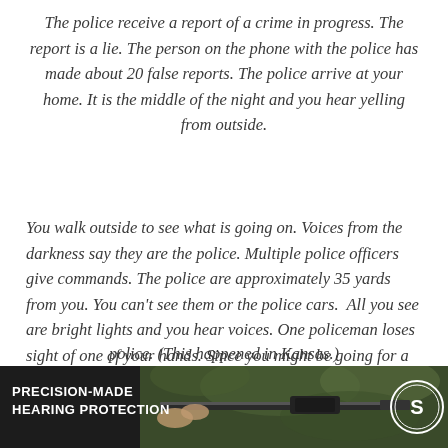The police receive a report of a crime in progress. The report is a lie. The person on the phone with the police has made about 20 false reports. The police arrive at your home. It is the middle of the night and you hear yelling from outside.
You walk outside to see what is going on. Voices from the darkness say they are the police. Multiple police officers give commands. The police are approximately 35 yards from you. You can't see them or the police cars. All you see are bright lights and you hear voices. One policeman loses sight of one of your hands. Since you might be going for a weapon, you're shot dead by police. (This happened in Kansas.)
[Figure (photo): Advertisement banner at bottom of page showing a person shooting a rifle, with text 'PRECISION-MADE HEARING PROTECTION' and a circular logo on the right]